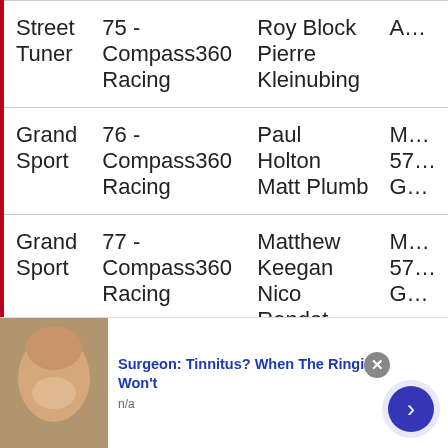| Class | Car / Team | Drivers |  |
| --- | --- | --- | --- |
| Street Tuner | 75 - Compass360 Racing | Roy Block
Pierre Kleinubing | A… |
| Grand Sport | 76 - Compass360 Racing | Paul Holton
Matt Plumb | M…
57…
G… |
| Grand Sport | 77 - Compass360 Racing | Matthew Keegan
Nico Rondet | M…
57…
G… |
| Street Tuner | 81 - BimmerWorld Racing | Ari Balogh
Greg Liefooghe | Bl…
32… |
[Figure (other): Advertisement banner: photo of a person, headline 'Surgeon: Tinnitus? When The Ringing Won't', subtext 'n/a', close button, blue arrow button]